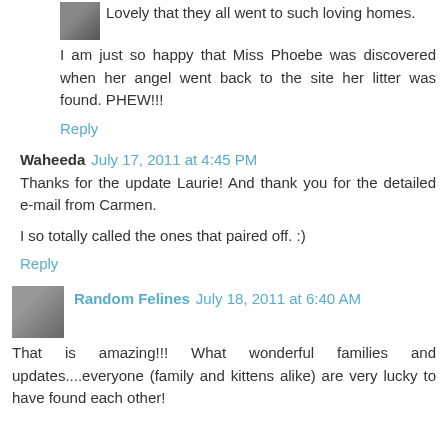Lovely that they all went to such loving homes.
I am just so happy that Miss Phoebe was discovered when her angel went back to the site her litter was found. PHEW!!!
Reply
Waheeda  July 17, 2011 at 4:45 PM
Thanks for the update Laurie! And thank you for the detailed e-mail from Carmen.
I so totally called the ones that paired off. :)
Reply
Random Felines  July 18, 2011 at 6:40 AM
That is amazing!!! What wonderful families and updates....everyone (family and kittens alike) are very lucky to have found each other!